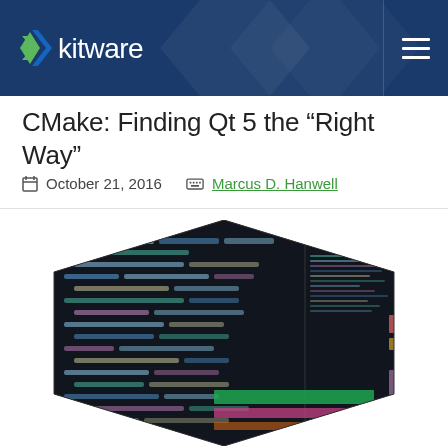Kitware
CMake: Finding Qt 5 the “Right Way”
October 21, 2016   Marcus D. Hanwell
[Figure (screenshot): Hexagon-shaped screenshot of a code editor with dark background showing colored syntax highlighting including green, pink, and white text]